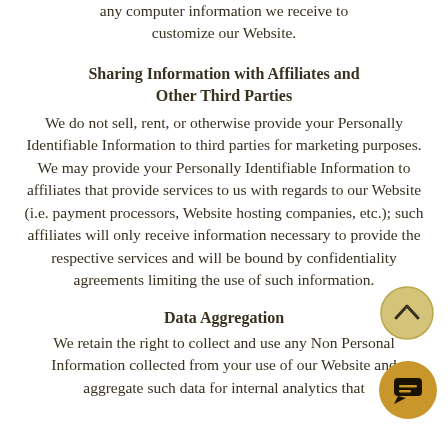any computer information we receive to customize our Website.
Sharing Information with Affiliates and Other Third Parties
We do not sell, rent, or otherwise provide your Personally Identifiable Information to third parties for marketing purposes. We may provide your Personally Identifiable Information to affiliates that provide services to us with regards to our Website (i.e. payment processors, Website hosting companies, etc.); such affiliates will only receive information necessary to provide the respective services and will be bound by confidentiality agreements limiting the use of such information.
Data Aggregation
We retain the right to collect and use any Non Personal Information collected from your use of our Website and aggregate such data for internal analytics that